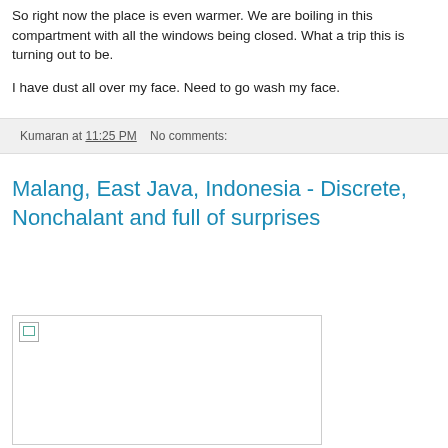So right now the place is even warmer. We are boiling in this compartment with all the windows being closed. What a trip this is turning out to be.
I have dust all over my face. Need to go wash my face.
Kumaran at 11:25 PM   No comments:
Malang, East Java, Indonesia - Discrete, Nonchalant and full of surprises
[Figure (photo): A photo placeholder with a broken image icon in the top-left corner, shown inside a bordered rectangle.]